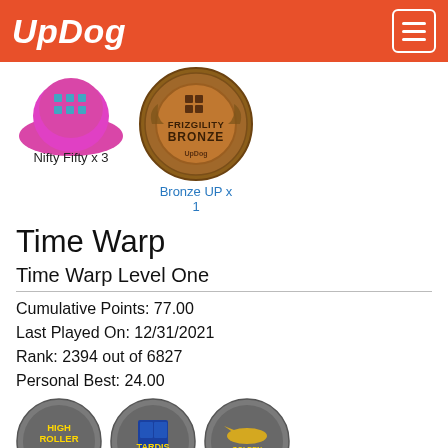UpDog
[Figure (illustration): Pink/magenta hat or blob shape badge partially visible on left]
[Figure (illustration): Bronze circular medal badge reading FRIZGILITY BRONZE with UpDog logo]
Nifty Fifty x 3
Bronze UP x 1
Time Warp
Time Warp Level One
Cumulative Points: 77.00
Last Played On: 12/31/2021
Rank: 2394 out of 6827
Personal Best: 24.00
[Figure (illustration): High Roller circular badge for Time Warp Level 1]
[Figure (illustration): Tardis circular badge for Time Warp Level 1]
[Figure (illustration): Golden Receiver circular badge for Time Warp Level 1]